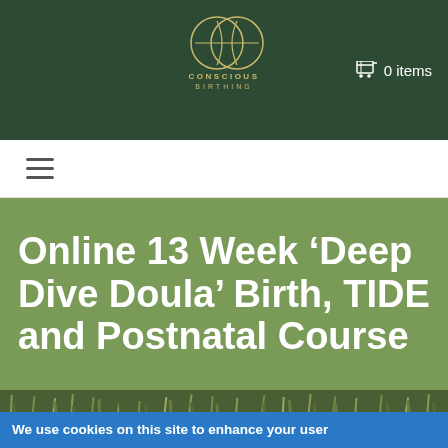[Figure (logo): Conscious Birthing logo: two overlapping circles forming a vesica piscis shape with a horizontal line through the middle, in gold/olive color on dark green background, with text 'CONSCIOUS BIRTHING' below]
🛒 0 items
[Figure (other): Hamburger menu icon (three horizontal lines)]
Online 13 Week 'Deep Dive Doula' Birth, TIDE and Postnatal Course
[Figure (photo): Nature photograph showing grass or reed plants with brown and green foliage]
We use cookies on this site to enhance your user experience